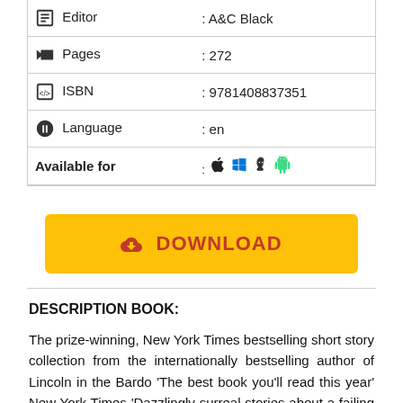| Field | Value |
| --- | --- |
| Editor | : A&C Black |
| Pages | : 272 |
| ISBN | : 9781408837351 |
| Language | : en |
| Available for | : [platform icons] |
[Figure (other): Yellow download button with cloud/download icon and text 'DOWNLOAD' in red]
DESCRIPTION BOOK:
The prize-winning, New York Times bestselling short story collection from the internationally bestselling author of Lincoln in the Bardo 'The best book you'll read this year' New York Times 'Dazzlingly surreal stories about a failing America' Sunday Times WINNER OF THE 2014 FOLIO PRIZE AND SHORTLISTED FOR THE